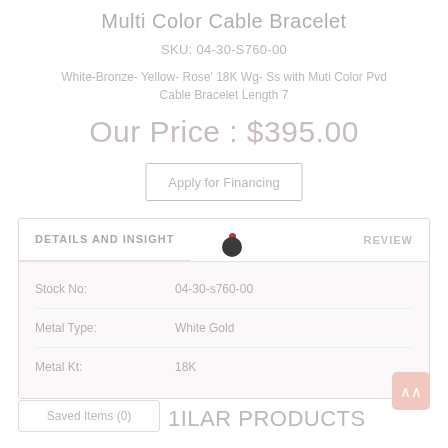Multi Color Cable Bracelet
SKU: 04-30-S760-00
White-Bronze- Yellow- Rose' 18K Wg- Ss with Muti Color Pvd Cable Bracelet Length 7
Our Price : $395.00
Apply for Financing
| Field | Value |
| --- | --- |
| Stock No: | 04-30-s760-00 |
| Metal Type: | White Gold |
| Metal Kt: | 18K |
Saved Items (0)
MILAR PRODUCTS